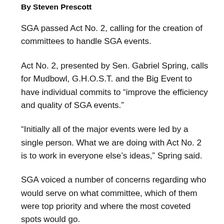By Steven Prescott
SGA passed Act No. 2, calling for the creation of committees to handle SGA events.
Act No. 2, presented by Sen. Gabriel Spring, calls for Mudbowl, G.H.O.S.T. and the Big Event to have individual commits to “improve the efficiency and quality of SGA events.”
“Initially all of the major events were led by a single person. What we are doing with Act No. 2 is to work in everyone else’s ideas,” Spring said.
SGA voiced a number of concerns regarding who would serve on what committee, which of them were top priority and where the most coveted spots would go.